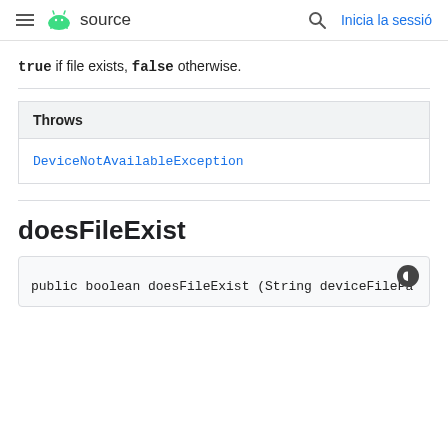≡ 🤖 source    🔍  Inicia la sessió
true if file exists, false otherwise.
| Throws |
| --- |
| DeviceNotAvailableException |
doesFileExist
public boolean doesFileExist (String deviceFilePa